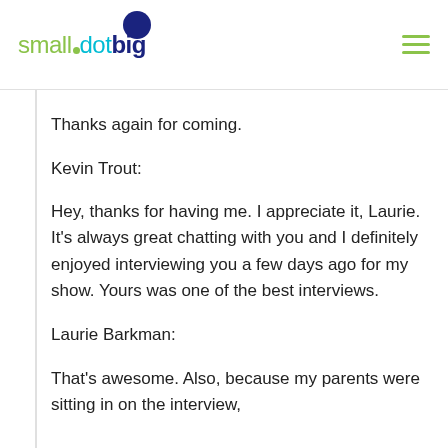[Figure (logo): smalldotbig logo with dark blue circle above the 'dot', green text for 'small', cyan text for 'dot', dark navy bold text for 'big', and a small green dot below.]
Thanks again for coming.
Kevin Trout:
Hey, thanks for having me. I appreciate it, Laurie. It's always great chatting with you and I definitely enjoyed interviewing you a few days ago for my show. Yours was one of the best interviews.
Laurie Barkman:
That's awesome. Also, because my parents were sitting in on the interview,